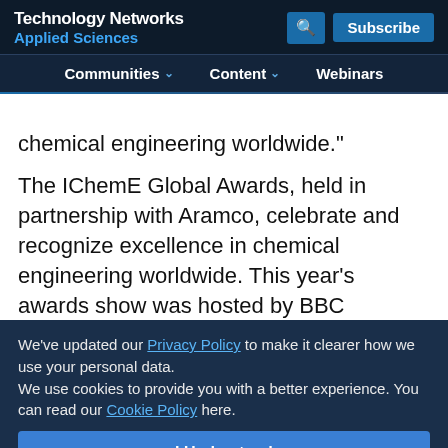Technology Networks Applied Sciences | Communities | Content | Webinars
chemical engineering worldwide."
The IChemE Global Awards, held in partnership with Aramco, celebrate and recognize excellence in chemical engineering worldwide. This year's awards show was hosted by BBC business journalist, Steph McGovern, at the Hilton Metropole, Birmingham, UK on 5 November 2015.
We've updated our Privacy Policy to make it clearer how we use your personal data.
We use cookies to provide you with a better experience. You can read our Cookie Policy here.
I Understand
Related Topic Pages
Petrochemicals